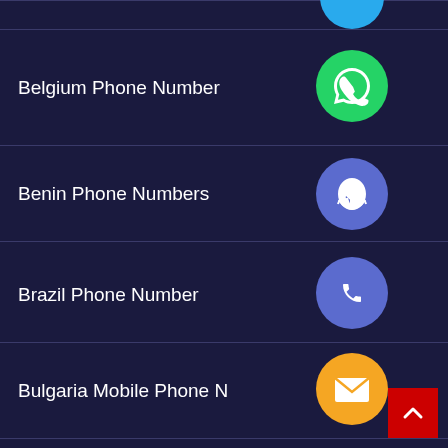Belgium Phone Number
Benin Phone Numbers
Brazil Phone Number
Bulgaria Mobile Phone N...
Business Email List
C Level Executive List
Cambodia Phone Numbe...
Canada Mobile Number
Chile Phone Numbers